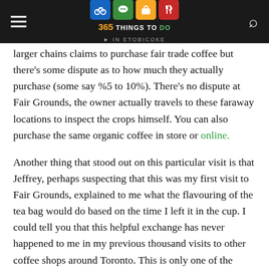365 Things To Do In Etobicoke
...larger chains claims to purchase fair trade coffee but there's some dispute as to how much they actually purchase (some say %5 to 10%). There's no dispute at Fair Grounds, the owner actually travels to these faraway locations to inspect the crops himself. You can also purchase the same organic coffee in store or online.
Another thing that stood out on this particular visit is that Jeffrey, perhaps suspecting that this was my first visit to Fair Grounds, explained to me what the flavouring of the tea bag would do based on the time I left it in the cup. I could tell you that this helpful exchange has never happened to me in my previous thousand visits to other coffee shops around Toronto. This is only one of the differences between your typical chain coffee house and one that is run by an owner